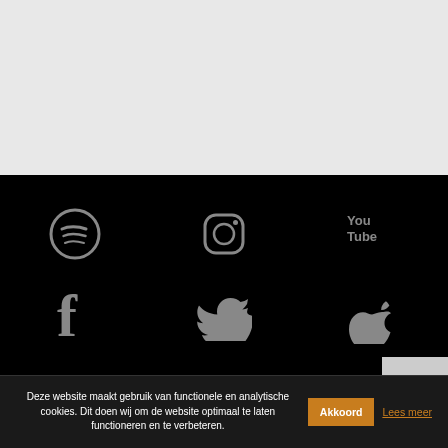[Figure (screenshot): Top gray section - empty content area background]
[Figure (screenshot): Black footer section with 6 social media icons: Spotify, Instagram, YouTube (top row), Facebook, Twitter, Apple (bottom row)]
Deze website maakt gebruik van functionele en analytische cookies. Dit doen wij om de website optimaal te laten functioneren en te verbeteren.
Akkoord
Lees meer